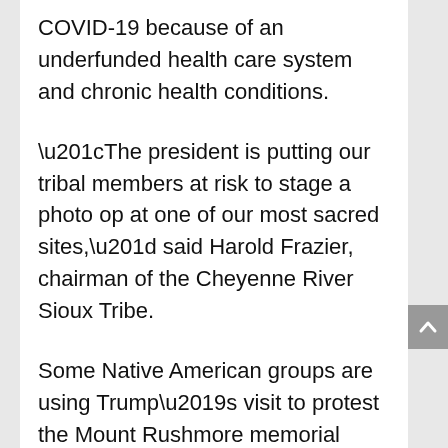COVID-19 because of an underfunded health care system and chronic health conditions.
“The president is putting our tribal members at risk to stage a photo op at one of our most sacred sites,” said Harold Frazier, chairman of the Cheyenne River Sioux Tribe.
Some Native American groups are using Trump’s visit to protest the Mount Rushmore memorial itself, pointing out that the Black Hills were taken from the Lakota people against treaty